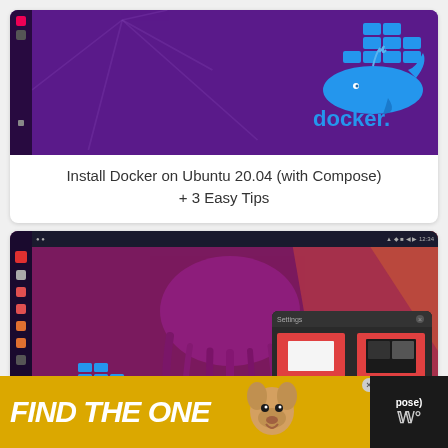[Figure (screenshot): Screenshot of Ubuntu desktop showing Docker logo (blue whale with containers) on purple background]
Install Docker on Ubuntu 20.04 (with Compose) + 3 Easy Tips
[Figure (screenshot): Screenshot of Ubuntu desktop with Docker logo on purple/magenta background with jellyfish, and a settings panel overlay on the right]
[Figure (screenshot): Advertisement banner: FIND THE ONE with dog image on yellow/black background]